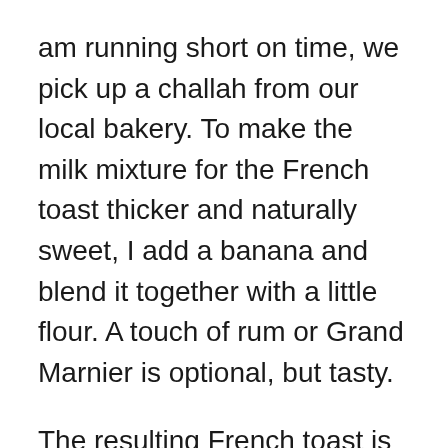am running short on time, we pick up a challah from our local bakery. To make the milk mixture for the French toast thicker and naturally sweet, I add a banana and blend it together with a little flour. A touch of rum or Grand Marnier is optional, but tasty.
The resulting French toast is seriously amazing. It's fluffy, airy, and not at all soggy. This preparation is much lighter than other recipes I've seen that drench the bread in cream, sugar, and butter. I much prefer to give the bread a rich flavor without a ton of sweetness and excess fat. That way, people